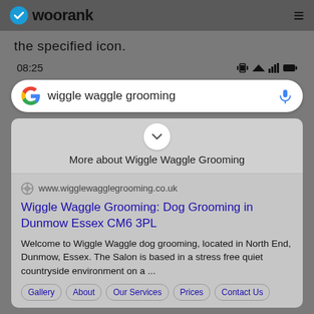woorank
the specified icon.
[Figure (screenshot): Mobile status bar showing time 08:25 and status icons (vibrate, wifi, signal, battery)]
[Figure (screenshot): Google search bar with query 'wiggle waggle grooming' and microphone icon]
[Figure (screenshot): Google search result card showing More about Wiggle Waggle Grooming dropdown, URL www.wigglewagglegrooming.co.uk, title 'Wiggle Waggle Grooming: Dog Grooming in Dunmow Essex CM6 3PL', snippet text, and sitelink buttons: Gallery, About, Our Services, Prices, Contact Us]